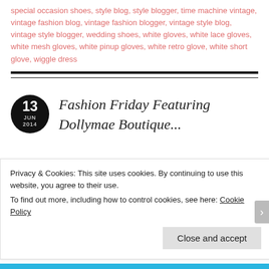special occasion shoes, style blog, style blogger, time machine vintage, vintage fashion blog, vintage fashion blogger, vintage style blog, vintage style blogger, wedding shoes, white gloves, white lace gloves, white mesh gloves, white pinup gloves, white retro glove, white short glove, wiggle dress
Fashion Friday Featuring
Privacy & Cookies: This site uses cookies. By continuing to use this website, you agree to their use.
To find out more, including how to control cookies, see here: Cookie Policy